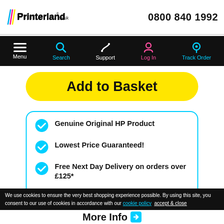Printerland.co.uk  0800 840 1992
[Figure (screenshot): Navigation bar with Menu, Search, Support, Log In, Track Order icons on black background]
Add to Basket
Genuine Original HP Product
Lowest Price Guaranteed!
Free Next Day Delivery on orders over £125*
Return unopened cartridges within 6 months
We use cookies to ensure the very best shopping experience possible. By using this site, you consent to our use of cookies in accordance with our cookie policy  accept & close
More Info